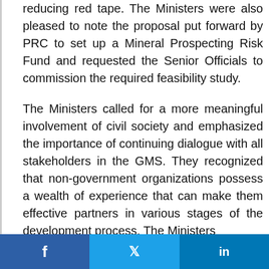reducing red tape. The Ministers were also pleased to note the proposal put forward by PRC to set up a Mineral Prospecting Risk Fund and requested the Senior Officials to commission the required feasibility study.
The Ministers called for a more meaningful involvement of civil society and emphasized the importance of continuing dialogue with all stakeholders in the GMS. They recognized that non-government organizations possess a wealth of experience that can make them effective partners in various stages of the development process. The Ministers
[Figure (other): Social media share buttons bar at bottom: Facebook (blue), Twitter (light blue), LinkedIn (blue)]